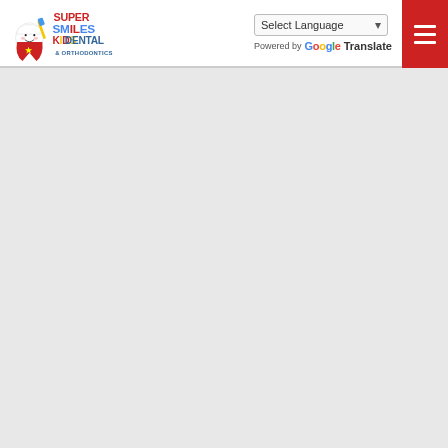[Figure (logo): Super Smiles Kids Dental & Orthodontics logo with cartoon tooth character holding a toothbrush]
Select Language
Powered by Google Translate
[Figure (other): Red hamburger menu button with three white horizontal lines]